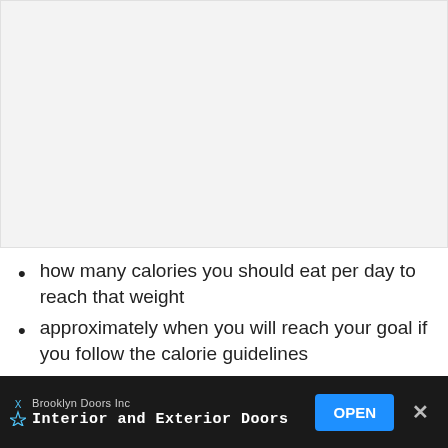[Figure (other): Blank light gray placeholder image area at top of page]
how many calories you should eat per day to reach that weight
approximately when you will reach your goal if you follow the calorie guidelines
day by day breakdown of your progress
how many calories you should burn per
Brooklyn Doors Inc  Interior and Exterior Doors  OPEN